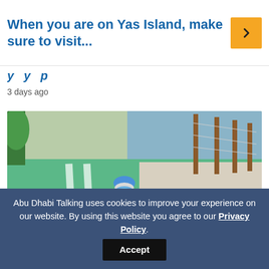When you are on Yas Island, make sure to visit...
3 days ago
[Figure (photo): A person wearing a blue helmet and face mask riding a bicycle on a green cycling lane, with trees, water and landscaping visible in the background.]
Abu Dhabi Talking uses cookies to improve your experience on our website. By using this website you agree to our Privacy Policy.